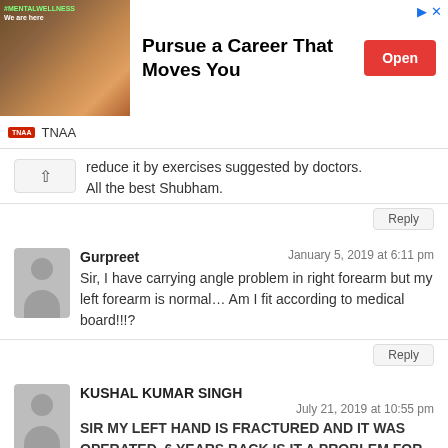[Figure (screenshot): Advertisement banner for TNAA with text 'Pursue a Career That Moves You' and an Open button]
reduce it by exercises suggested by doctors.
All the best Shubham.
Reply
Gurpreet
January 5, 2019 at 6:11 pm
Sir, I have carrying angle problem in right forearm but my left forearm is normal... Am I fit according to medical board!!!?
Reply
KUSHAL KUMAR SINGH
July 21, 2019 at 10:55 pm
SIR MY LEFT HAND IS FRACTURED AND IT WAS OPERATED. 6 YEARS BACK IS IT A PROBLEM FOR ARMED FORCES. OR NOT
Reply